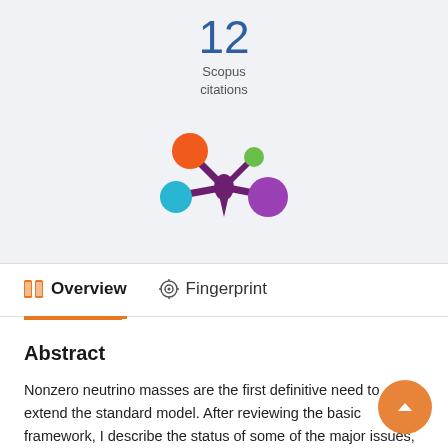12
Scopus
citations
[Figure (logo): Scopus / Altmetric colored dot logo with orange, green, cyan, and purple circles connected by dark purple lines]
Overview
Fingerprint
Abstract
Nonzero neutrino masses are the first definitive need to extend the standard model. After reviewing the basic framework, I describe the status of some of the major issues, including tests of the basic framework of neutrino masses and mixings; the